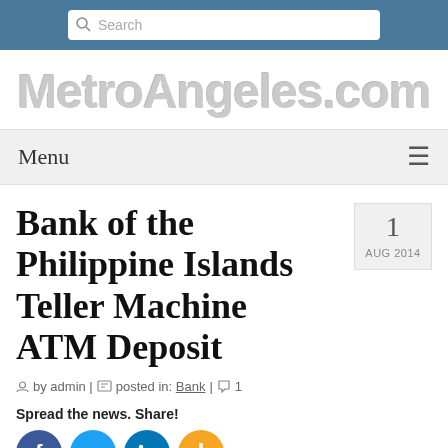Search
MetroAngeles.com
Menu
Bank of the Philippine Islands Teller Machine ATM Deposit
1 AUG 2014
by admin | posted in: Bank | 1
Spread the news. Share!